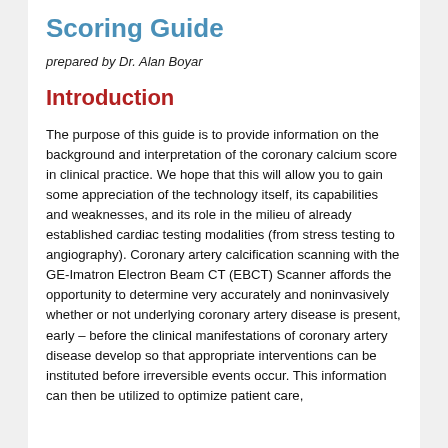Scoring Guide
prepared by Dr. Alan Boyar
Introduction
The purpose of this guide is to provide information on the background and interpretation of the coronary calcium score in clinical practice. We hope that this will allow you to gain some appreciation of the technology itself, its capabilities and weaknesses, and its role in the milieu of already established cardiac testing modalities (from stress testing to angiography). Coronary artery calcification scanning with the GE-Imatron Electron Beam CT (EBCT) Scanner affords the opportunity to determine very accurately and noninvasively whether or not underlying coronary artery disease is present, early – before the clinical manifestations of coronary artery disease develop so that appropriate interventions can be instituted before irreversible events occur. This information can then be utilized to optimize patient care,